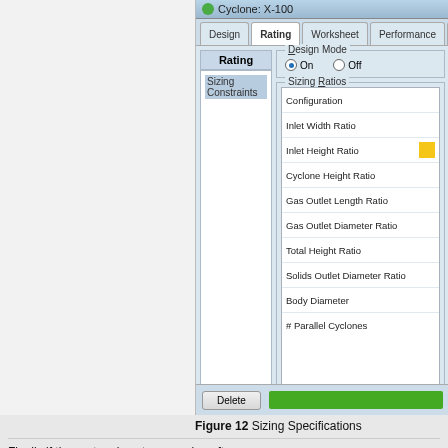[Figure (screenshot): Software dialog window titled 'Cyclone: X-100' showing the Rating tab selected. Left panel shows 'Rating' header with 'Sizing Constraints' list item. Right panel has 'Design Mode' group box with 'On' radio button selected and 'Off' radio button unselected. Below is a 'Sizing Ratios' group box containing a list with rows: Configuration, Inlet Width Ratio, Inlet Height Ratio (with yellow highlight), Cyclone Height Ratio, Gas Outlet Length Ratio, Gas Outlet Diameter Ratio, Total Height Ratio, Solids Outlet Diameter Ratio, Body Diameter, # Parallel Cyclones. Bottom bar has a 'Delete' button and a green progress bar.]
Figure 12 Sizing Specifications
Finally if the system is not converging after